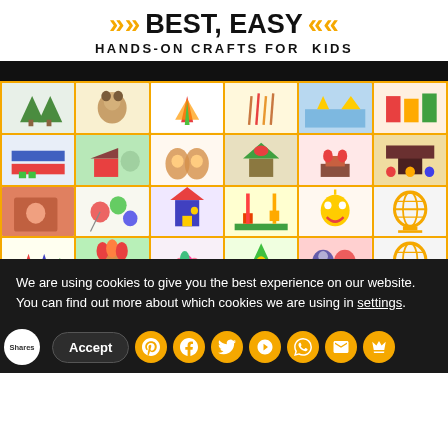>> BEST, EASY << HANDS-ON CRAFTS FOR KIDS
[Figure (photo): Collage grid of colorful kids crafts on yellow/orange background — paper trees, animal crafts, leaf art, flowers, barn scenes, cactus art, gingerbread, house models, sun drawings, portraits, tulip crafts arranged in 4 rows of 6 images with a logo globe in bottom right]
We are using cookies to give you the best experience on our website.
You can find out more about which cookies we are using in settings.
Accept
Shares